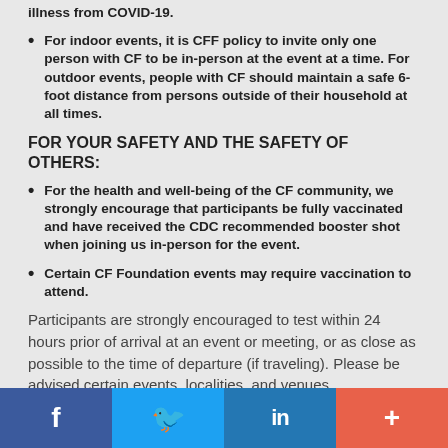illness from COVID-19.
For indoor events, it is CFF policy to invite only one person with CF to be in-person at the event at a time. For outdoor events, people with CF should maintain a safe 6-foot distance from persons outside of their household at all times.
FOR YOUR SAFETY AND THE SAFETY OF OTHERS:
For the health and well-being of the CF community, we strongly encourage that participants be fully vaccinated and have received the CDC recommended booster shot when joining us in-person for the event.
Certain CF Foundation events may require vaccination to attend.
Participants are strongly encouraged to test within 24 hours prior of arrival at an event or meeting, or as close as possible to the time of departure (if traveling). Please be advised certain events, localities, and venues
f  Twitter  in  +